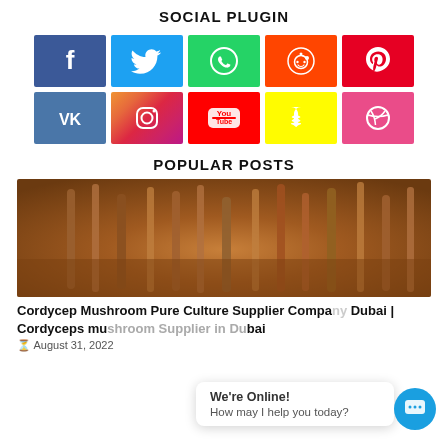SOCIAL PLUGIN
[Figure (infographic): Social media plugin buttons grid: Facebook, Twitter, WhatsApp, Reddit, Pinterest (row 1); VK, Instagram, YouTube, Snapchat, Dribbble (row 2)]
POPULAR POSTS
[Figure (photo): Close-up photo of Cordycep mushroom culture in a container]
Cordycep Mushroom Pure Culture Supplier Company Dubai | Cordyceps mushroom Supplier in Dubai
August 31, 2022
We're Online!
How may I help you today?